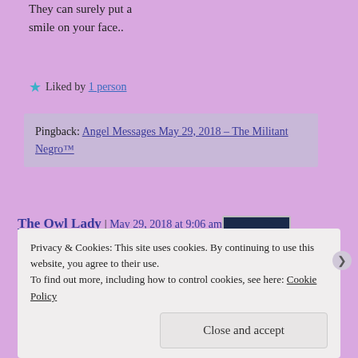They can surely put a smile on your face..
★ Liked by 1 person
Pingback: Angel Messages May 29, 2018 – The Militant Negro™
The Owl Lady | May 29, 2018 at 9:06 am | Reply
[Figure (photo): Circular avatar image showing an angel figure on dark background]
Reblogged this on Viv Drewa – The Owl Lady.
Privacy & Cookies: This site uses cookies. By continuing to use this website, you agree to their use. To find out more, including how to control cookies, see here: Cookie Policy
Close and accept